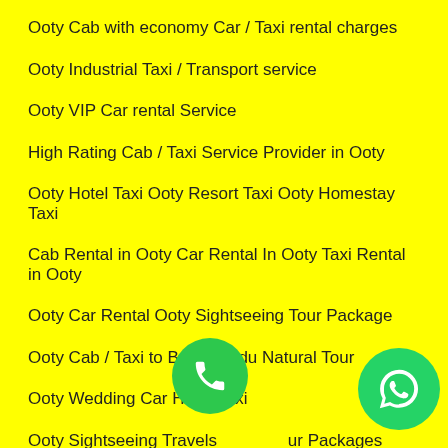Ooty Cab with economy Car / Taxi rental charges
Ooty Industrial Taxi / Transport service
Ooty VIP Car rental Service
High Rating Cab / Taxi Service Provider in Ooty
Ooty Hotel Taxi Ooty Resort Taxi Ooty Homestay Taxi
Cab Rental in Ooty Car Rental In Ooty Taxi Rental in Ooty
Ooty Car Rental Ooty Sightseeing Tour Package
Ooty Cab / Taxi to Baralikaadu Natural Tour
Ooty Wedding Car Hire / Taxi
Ooty Sightseeing Travels Tour Packages
Taxi / Cab To St. Stephen's Church